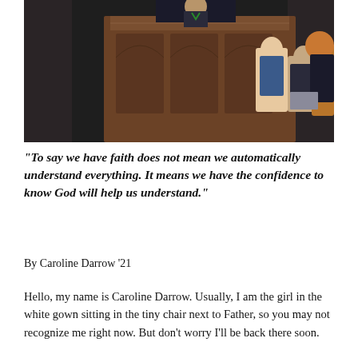[Figure (photo): A person speaking at an ornate wooden pulpit/lectern in what appears to be a chapel or formal hall. Several people are seated in the background.]
“To say we have faith does not mean we automatically understand everything. It means we have the confidence to know God will help us understand.”
By Caroline Darrow ’21
Hello, my name is Caroline Darrow. Usually, I am the girl in the white gown sitting in the tiny chair next to Father, so you may not recognize me right now. But don’t worry I’ll be back there soon.